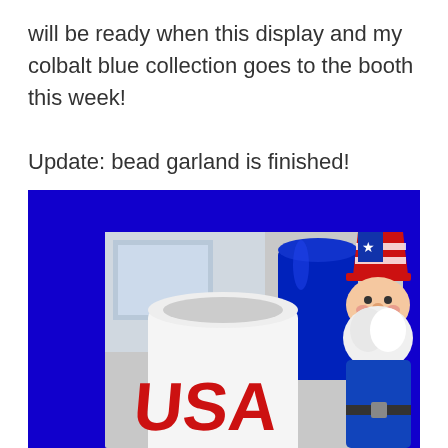will be ready when this display and my colbalt blue collection goes to the booth this week!

Update: bead garland is finished!
[Figure (photo): Photo on a cobalt blue background showing a white ceramic USA mug with red letters, a cobalt blue glass vase behind it, and a patriotic gnome figurine wearing an American flag hat on the right side.]